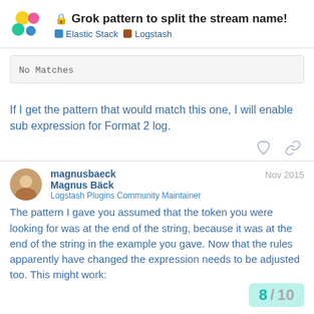🔒 Grok pattern to split the stream name! — Elastic Stack · Logstash
[Figure (screenshot): Code/output box showing 'No Matches' in monospace font on a light gray background]
If I get the pattern that would match this one, I will enable sub expression for Format 2 log.
magnusbaeck Magnus Bäck — Nov 2015 — Logstash Plugins Community Maintainer
The pattern I gave you assumed that the token you were looking for was at the end of the string, because it was at the end of the string in the example you gave. Now that the rules apparently have changed the expression needs to be adjusted too. This might work:
8 / 10